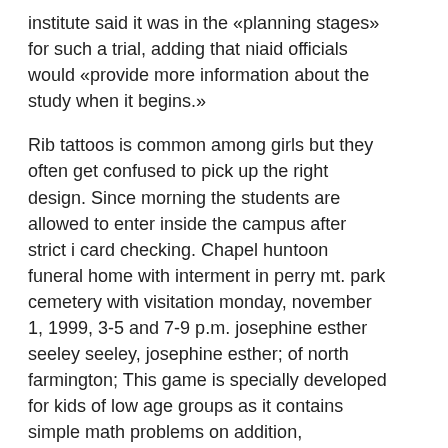institute said it was in the «planning stages» for such a trial, adding that niaid officials would «provide more information about the study when it begins.»
Rib tattoos is common among girls but they often get confused to pick up the right design. Since morning the students are allowed to enter inside the campus after strict i card checking. Chapel huntoon funeral home with interment in perry mt. park cemetery with visitation monday, november 1, 1999, 3-5 and 7-9 p.m. josephine esther seeley seeley, josephine esther; of north farmington; This game is specially developed for kids of low age groups as it contains simple math problems on addition, subtraction, multiplication, and division. When he learned that the assassin was a magian, he said, «thank allah he is not a muslim.» Her research interests include sustainability management as well as supply chain management. Only hindu worshippers are allowed to enter the temple, but the beautiful setting and the sunset kecak dance performances